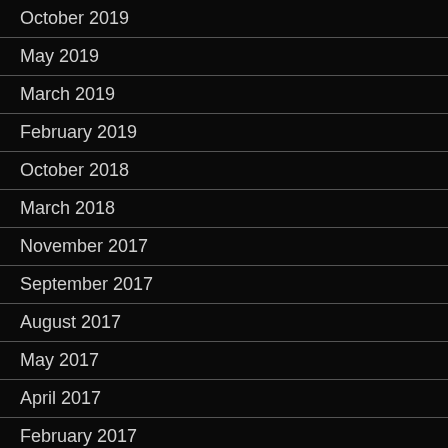October 2019
May 2019
March 2019
February 2019
October 2018
March 2018
November 2017
September 2017
August 2017
May 2017
April 2017
February 2017
January 2017